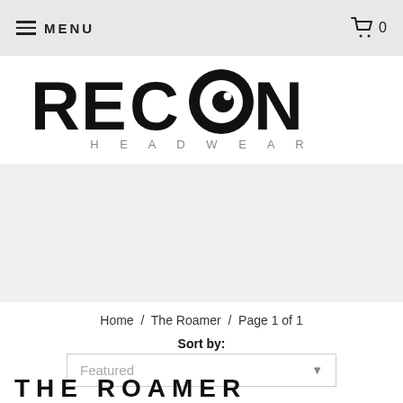MENU   🛒 0
[Figure (logo): RECKON HEADWEAR logo — large bold black sans-serif text 'RECKON' with an eye icon replacing the letter O, and 'HEADWEAR' in spaced light grey capitals below]
[Figure (other): Gray banner/hero image area (empty gray rectangle)]
Home  /  The Roamer  /  Page 1 of 1
Sort by:
Featured
THE ROAMER